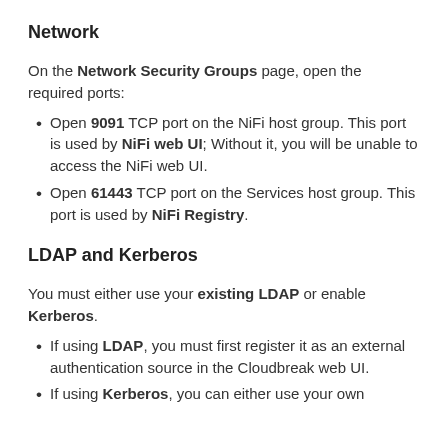Network
On the Network Security Groups page, open the required ports:
Open 9091 TCP port on the NiFi host group. This port is used by NiFi web UI; Without it, you will be unable to access the NiFi web UI.
Open 61443 TCP port on the Services host group. This port is used by NiFi Registry.
LDAP and Kerberos
You must either use your existing LDAP or enable Kerberos.
If using LDAP, you must first register it as an external authentication source in the Cloudbreak web UI.
If using Kerberos, you can either use your own